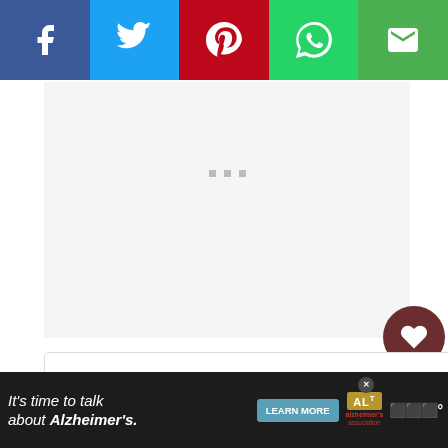[Figure (screenshot): Social media share bar with Facebook, Twitter, Pinterest, WhatsApp, and Email buttons]
[Figure (screenshot): White content area with three gray loading dots near top]
Table of Contents
[Figure (screenshot): Side action buttons: heart/save button and share button on right side]
[Figure (screenshot): Advertisement banner: It's time to talk about Alzheimer's. LEARN MORE. Alzheimer's association logo. Close button.]